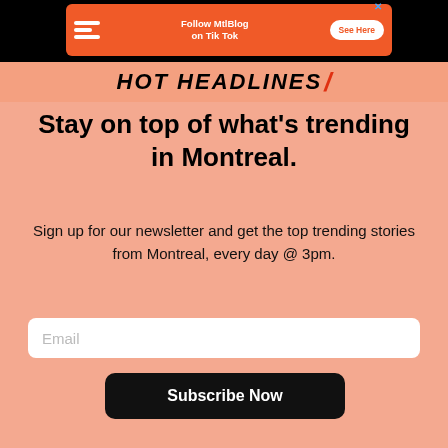[Figure (screenshot): Orange advertisement banner for MtlBlog TikTok with icon, text 'Follow MtlBlog on Tik Tok', and 'See Here' button]
[Figure (logo): HOT HEADLINES banner text in bold italic black uppercase with red slash]
Stay on top of what's trending in Montreal.
Sign up for our newsletter and get the top trending stories from Montreal, every day @ 3pm.
Email
Subscribe Now